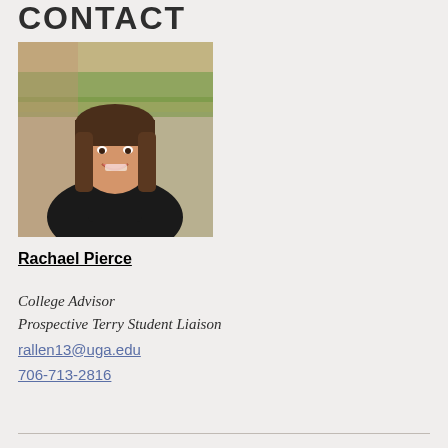CONTACT
[Figure (photo): Professional headshot of Rachael Pierce, a young woman with brown hair and bangs, wearing a black sleeveless top, smiling outdoors with a blurred background.]
Rachael Pierce
College Advisor
Prospective Terry Student Liaison
rallen13@uga.edu
706-713-2816